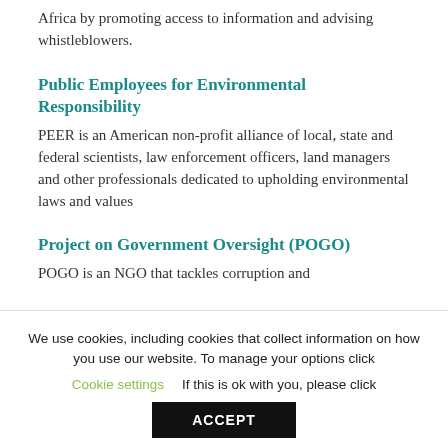Africa by promoting access to information and advising whistleblowers.
Public Employees for Environmental Responsibility
PEER is an American non-profit alliance of local, state and federal scientists, law enforcement officers, land managers and other professionals dedicated to upholding environmental laws and values
Project on Government Oversight (POGO)
POGO is an NGO that tackles corruption and
We use cookies, including cookies that collect information on how you use our website. To manage your options click
Cookie settings   If this is ok with you, please click
ACCEPT